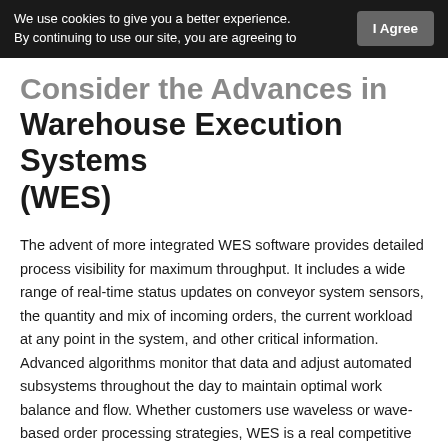We use cookies to give you a better experience. By continuing to use our site, you are agreeing to privacy policy | I Agree
Consider the Advances in Warehouse Execution Systems (WES)
The advent of more integrated WES software provides detailed process visibility for maximum throughput. It includes a wide range of real-time status updates on conveyor system sensors, the quantity and mix of incoming orders, the current workload at any point in the system, and other critical information. Advanced algorithms monitor that data and adjust automated subsystems throughout the day to maintain optimal work balance and flow. Whether customers use waveless or wave-based order processing strategies, WES is a real competitive advantage for those who have it.